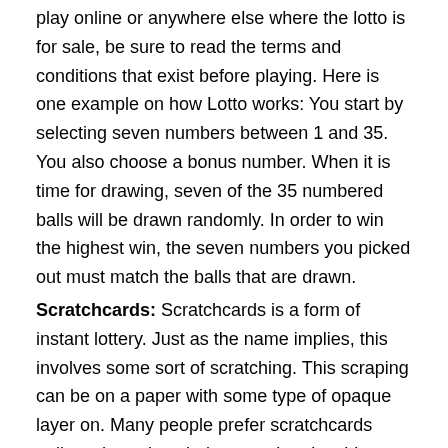play online or anywhere else where the lotto is for sale, be sure to read the terms and conditions that exist before playing. Here is one example on how Lotto works: You start by selecting seven numbers between 1 and 35. You also choose a bonus number. When it is time for drawing, seven of the 35 numbered balls will be drawn randomly. In order to win the highest win, the seven numbers you picked out must match the balls that are drawn.
Scratchcards: Scratchcards is a form of instant lottery. Just as the name implies, this involves some sort of scratching. This scraping can be on a paper with some type of opaque layer on. Many people prefer scratchcards online where the whole procedure is a bit more smooth and you also have the chance to win more and more often.
Keno: Keno is similar to bingo and has a long history which started 3000 years ago in china. The game involves pre selecting lottery numbers. Then numbers are drawn randomly from a set amount and to win in Keno it is necessary to have